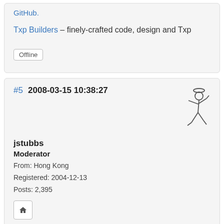GitHub.
Txp Builders – finely-crafted code, design and Txp
Offline
#5  2008-03-15 10:38:27
[Figure (illustration): Stick figure avatar with halo, posed in a walking/gesturing position]
jstubbs
Moderator
From: Hong Kong
Registered: 2004-12-13
Posts: 2,395
Thanks Stef I will try that out a little later today. I think I might try the Fancy Zoom on